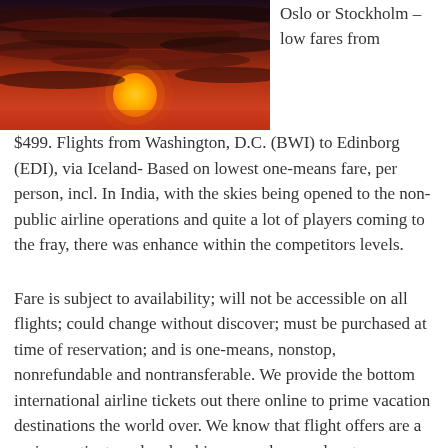[Figure (photo): A sunset photo showing a red/orange sky with dark clouds and a bright yellow-orange sun near the horizon.]
Oslo or Stockholm – low fares from $499. Flights from Washington, D.C. (BWI) to Edinborg (EDI), via Iceland- Based on lowest one-means fare, per person, incl. In India, with the skies being opened to the non-public airline operations and quite a lot of players coming to the fray, there was enhance within the competitors levels.
Fare is subject to availability; will not be accessible on all flights; could change without discover; must be purchased at time of reservation; and is one-means, nonstop, nonrefundable and nontransferable. We provide the bottom international airline tickets out there online to prime vacation destinations the world over. We know that flight offers are a major motivator when booking your dream adventures so being able to pick a cheap flight makes all the difference. You won't know the